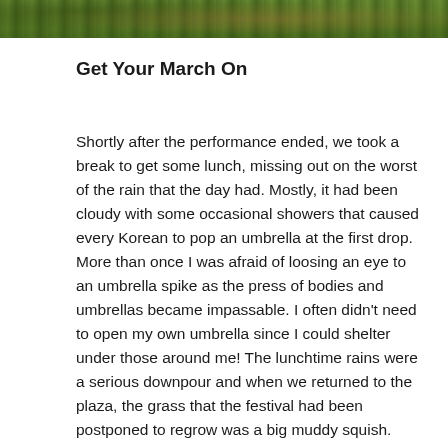[Figure (photo): Partial photo strip at top of page showing a grassy outdoor scene with people in colorful traditional Korean clothing]
Get Your March On
Shortly after the performance ended, we took a break to get some lunch, missing out on the worst of the rain that the day had. Mostly, it had been cloudy with some occasional showers that caused every Korean to pop an umbrella at the first drop. More than once I was afraid of loosing an eye to an umbrella spike as the press of bodies and umbrellas became impassable. I often didn’t need to open my own umbrella since I could shelter under those around me! The lunchtime rains were a serious downpour and when we returned to the plaza, the grass that the festival had been postponed to regrow was a big muddy squish.